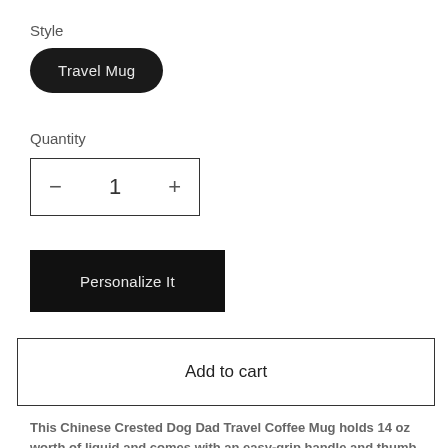Style
Travel Mug
Quantity
− 1 +
Personalize It
Add to cart
This Chinese Crested Dog Dad Travel Coffee Mug holds 14 oz worth of liquid and comes with an easy-grip handle and thumb